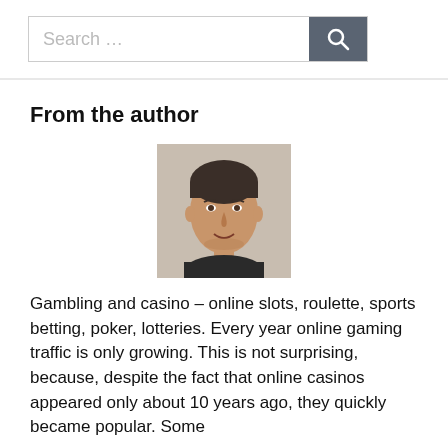Search …
From the author
[Figure (photo): Headshot photo of a man with short dark hair, slight smile, wearing a dark shirt, against a light background.]
Gambling and casino – online slots, roulette, sports betting, poker, lotteries. Every year online gaming traffic is only growing. This is not surprising, because, despite the fact that online casinos appeared only about 10 years ago, they quickly became popular. Some